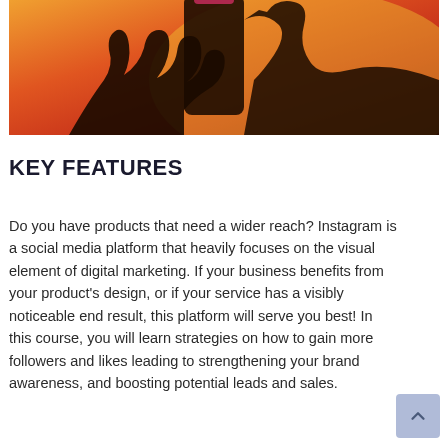[Figure (photo): Silhouette of a hand holding a smartphone against a warm orange and red gradient background, with a social media app icon partially visible at the top.]
KEY FEATURES
Do you have products that need a wider reach? Instagram is a social media platform that heavily focuses on the visual element of digital marketing. If your business benefits from your product's design, or if your service has a visibly noticeable end result, this platform will serve you best! In this course, you will learn strategies on how to gain more followers and likes leading to strengthening your brand awareness, and boosting potential leads and sales.